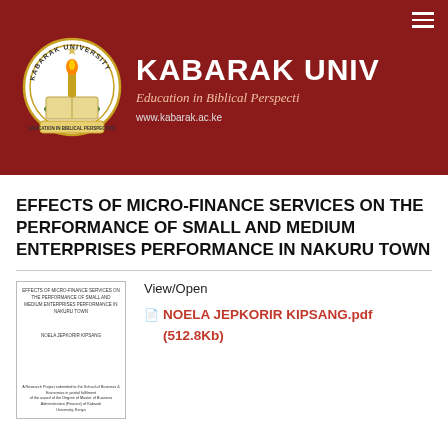Kabarak University — Education in Biblical Perspective — www.kabarak.ac.ke
EFFECTS OF MICRO-FINANCE SERVICES ON THE PERFORMANCE OF SMALL AND MEDIUM ENTERPRISES PERFORMANCE IN NAKURU TOWN
[Figure (screenshot): Thumbnail preview of the thesis document cover page]
View/Open
NOELA JEPKORIR KIPSANG.pdf (512.8Kb)